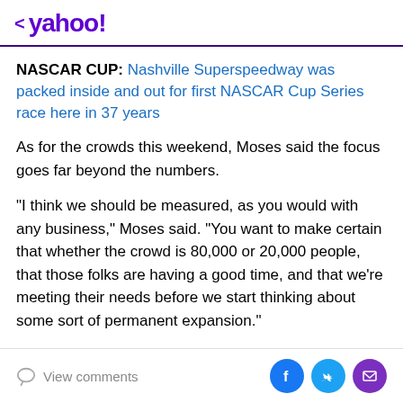< yahoo!
NASCAR CUP: Nashville Superspeedway was packed inside and out for first NASCAR Cup Series race here in 37 years
As for the crowds this weekend, Moses said the focus goes far beyond the numbers.
"I think we should be measured, as you would with any business," Moses said. "You want to make certain that whether the crowd is 80,000 or 20,000 people, that those folks are having a good time, and that we're meeting their needs before we start thinking about some sort of permanent expansion."
View comments